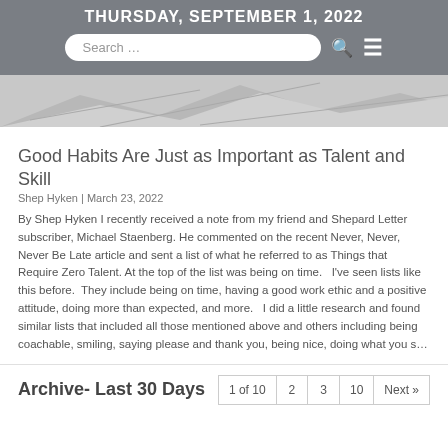THURSDAY, SEPTEMBER 1, 2022
[Figure (illustration): Abstract mountain/landscape graphic in grayscale]
Good Habits Are Just as Important as Talent and Skill
Shep Hyken | March 23, 2022
By Shep Hyken I recently received a note from my friend and Shepard Letter subscriber, Michael Staenberg. He commented on the recent Never, Never, Never Be Late article and sent a list of what he referred to as Things that Require Zero Talent. At the top of the list was being on time.   I've seen lists like this before.  They include being on time, having a good work ethic and a positive attitude, doing more than expected, and more.   I did a little research and found similar lists that included all those mentioned above and others including being coachable, smiling, saying please and thank you, being nice, doing what you s…
Archive- Last 30 Days
1 of 10  2  3  10  Next »